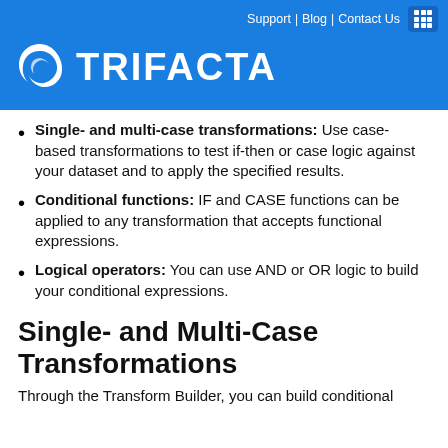TRIFACTA | Support | Blog | Contact Us
Single- and multi-case transformations: Use case-based transformations to test if-then or case logic against your dataset and to apply the specified results.
Conditional functions: IF and CASE functions can be applied to any transformation that accepts functional expressions.
Logical operators: You can use AND or OR logic to build your conditional expressions.
Single- and Multi-Case Transformations
Through the Transform Builder, you can build conditional